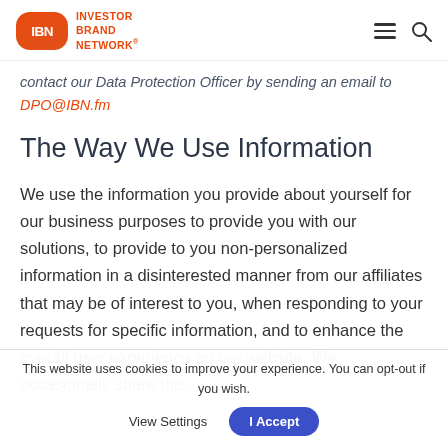IBN — Investor Brand Network
contact our Data Protection Officer by sending an email to DPO@IBN.fm
The Way We Use Information
We use the information you provide about yourself for our business purposes to provide you with our solutions, to provide to you non-personalized information in a disinterested manner from our affiliates that may be of interest to you, when responding to your requests for specific information, and to enhance the overall user experience on our website. We occasionally share this
This website uses cookies to improve your experience. You can opt-out if you wish.  View Settings  I Accept